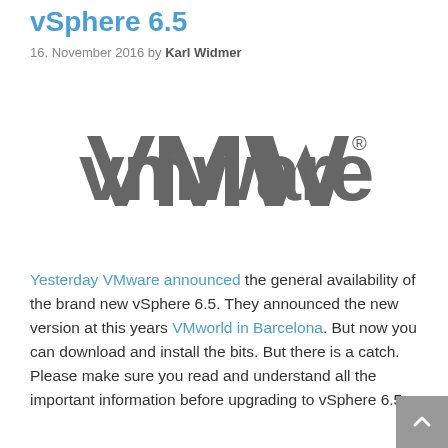vSphere 6.5
16. November 2016 by Karl Widmer
[Figure (logo): VMware logo in dark gray with registered trademark symbol]
Yesterday VMware announced the general availability of the brand new vSphere 6.5. They announced the new version at this years VMworld in Barcelona. But now you can download and install the bits. But there is a catch. Please make sure you read and understand all the important information before upgrading to vSphere 6.5